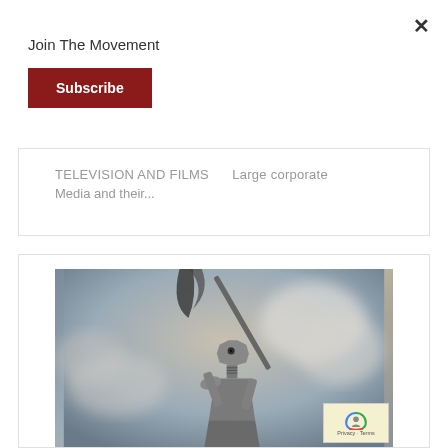×
Join The Movement
Subscribe
TELEVISION AND FILMS    Large corporate Media and their...
[Figure (illustration): A robot figure made of bolts and metal parts holding a rod/flag against a smoky sky background, stylized digital art. Overlaid with a Privacy·Terms badge in lower right.]